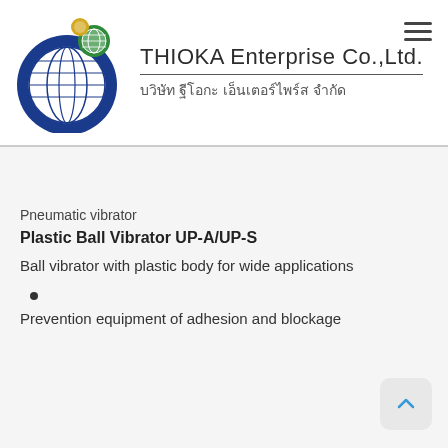[Figure (logo): THIOKA Enterprise Co.,Ltd. logo with globe icon in blue, and Thai company name below]
Pneumatic vibrator
Plastic Ball Vibrator UP-A/UP-S
Ball vibrator with plastic body for wide applications
Prevention equipment of adhesion and blockage